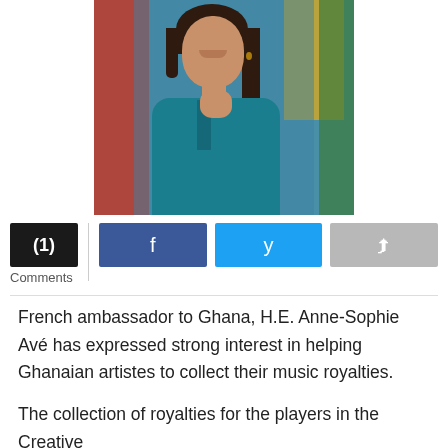[Figure (photo): Portrait photo of H.E. Anne-Sophie Avé, French ambassador to Ghana, wearing a teal blazer, smiling with hand raised to chin, with colorful flags in the background.]
(1)
Comments
French ambassador to Ghana, H.E. Anne-Sophie Avé has expressed strong interest in helping Ghanaian artistes to collect their music royalties.
The collection of royalties for the players in the Creative